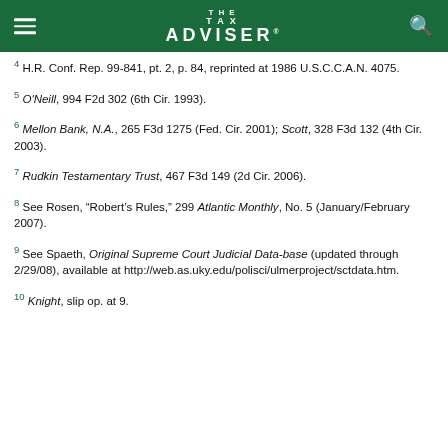THE TAX ADVISER
4 H.R. Conf. Rep. 99-841, pt. 2, p. 84, reprinted at 1986 U.S.C.C.A.N. 4075.
5 O'Neill, 994 F2d 302 (6th Cir. 1993).
6 Mellon Bank, N.A., 265 F3d 1275 (Fed. Cir. 2001); Scott, 328 F3d 132 (4th Cir. 2003).
7 Rudkin Testamentary Trust, 467 F3d 149 (2d Cir. 2006).
8 See Rosen, “Robert’s Rules,” 299 Atlantic Monthly, No. 5 (January/February 2007).
9 See Spaeth, Original Supreme Court Judicial Data-base (updated through 2/29/08), available at http://web.as.uky.edu/polisci/ulmerproject/sctdata.htm.
10 Knight, slip op. at 9.